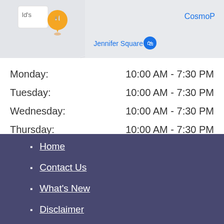[Figure (screenshot): Map screenshot showing Jennifer Square location with McDonald's pin, CosmoP label, and a shopping bag icon marker.]
| Day | Hours |
| --- | --- |
| Monday: | 10:00 AM - 7:30 PM |
| Tuesday: | 10:00 AM - 7:30 PM |
| Wednesday: | 10:00 AM - 7:30 PM |
| Thursday: | 10:00 AM - 7:30 PM |
| Friday: | 10:00 AM - 7:30 PM |
| Saturday: | 10:00 AM - 6:00 PM |
| Sunday: | 11:00 AM - 4:30 PM |
Home
Contact Us
What's New
Disclaimer